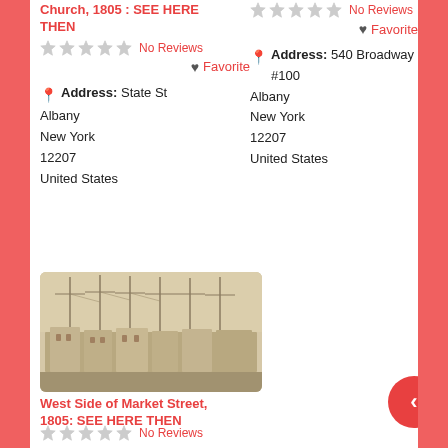Church, 1805 : SEE HERE THEN
No Reviews
Favorite
Address: State St
Albany
New York
12207
United States
(Right column - No Reviews)
Favorite
Address: 540 Broadway #100
Albany
New York
12207
United States
[Figure (illustration): A sepia-toned sketch/drawing showing the West Side of Market Street in 1805, depicting a row of buildings along a street with tall ship masts visible in the background]
West Side of Market Street, 1805: SEE HERE THEN
No Reviews
Favorite